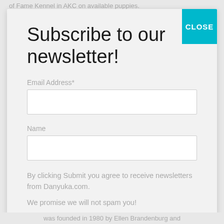of Fame Kennel in AKC on available puppies.
Subscribe to our newsletter!
Email Address*
Name
By clicking Submit you agree to receive newsletters from Danyuka.com.
We promise we will not spam you!
Subscribe
was founded in 1980 by Ellen Brandenburg and